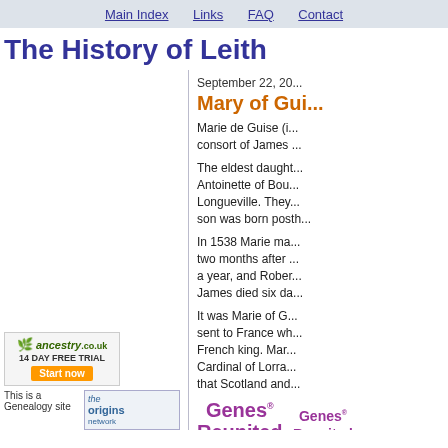Main Index   Links   FAQ   Contact
The History of Leith
September 22, 20...
Mary of Gui...
Marie de Guise (i... consort of James ...
The eldest daught... Antoinette of Bou... Longueville. They... son was born posth...
In 1538 Marie ma... two months after... a year, and Rober... James died six da...
It was Marie of G... sent to France wh... French king. Mar... Cardinal of Lorra... that Scotland and...
[Figure (logo): ancestry.co.uk 14 DAY FREE TRIAL Start now button]
[Figure (logo): Genes Reunited logo (large, purple)]
[Figure (logo): This is a Genealogy site text/image]
[Figure (logo): the origins network logo]
[Figure (logo): Genes Reunited logo (small, purple)]